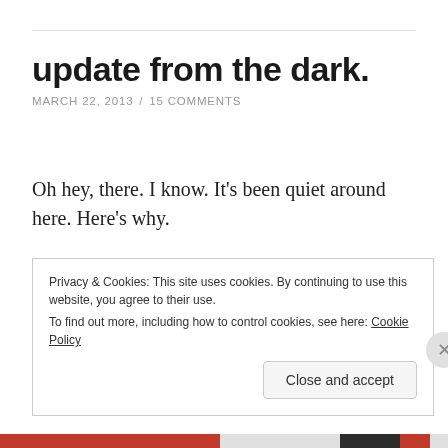update from the dark.
MARCH 22, 2013 / 15 COMMENTS
Oh hey, there. I know. It's been quiet around here. Here's why.
One week ago, I read this disturbing article about how the Internet — social media in particular — is making us crazy. It really freaked me out. It gave me so much
Privacy & Cookies: This site uses cookies. By continuing to use this website, you agree to their use. To find out more, including how to control cookies, see here: Cookie Policy
Close and accept